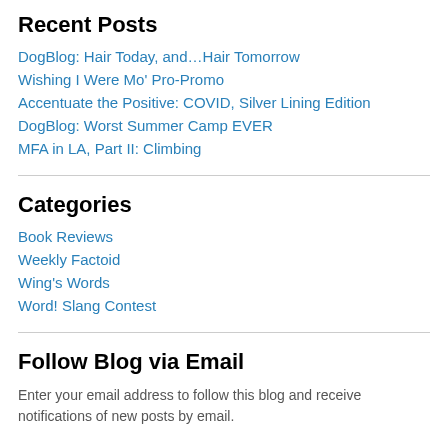Recent Posts
DogBlog: Hair Today, and…Hair Tomorrow
Wishing I Were Mo' Pro-Promo
Accentuate the Positive: COVID, Silver Lining Edition
DogBlog: Worst Summer Camp EVER
MFA in LA, Part II: Climbing
Categories
Book Reviews
Weekly Factoid
Wing's Words
Word! Slang Contest
Follow Blog via Email
Enter your email address to follow this blog and receive notifications of new posts by email.